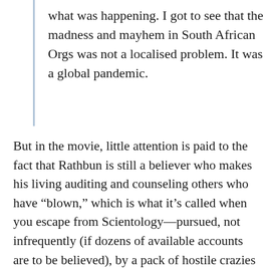what was happening. I got to see that the madness and mayhem in South African Orgs was not a localised problem. It was a global pandemic.
But in the movie, little attention is paid to the fact that Rathbun is still a believer who makes his living auditing and counseling others who have “blown,” which is what it’s called when you escape from Scientology—pursued, not infrequently (if dozens of available accounts are to be believed), by a pack of hostile crazies trying to drag you back again. Wright does report, in the book, that “Rathbun now makes his living by providing Hubbard-inspired counseling